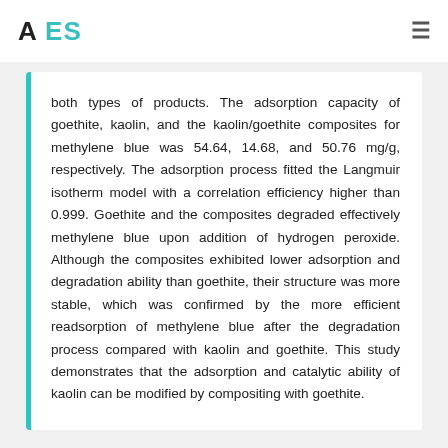A ES
both types of products. The adsorption capacity of goethite, kaolin, and the kaolin/goethite composites for methylene blue was 54.64, 14.68, and 50.76 mg/g, respectively. The adsorption process fitted the Langmuir isotherm model with a correlation efficiency higher than 0.999. Goethite and the composites degraded effectively methylene blue upon addition of hydrogen peroxide. Although the composites exhibited lower adsorption and degradation ability than goethite, their structure was more stable, which was confirmed by the more efficient readsorption of methylene blue after the degradation process compared with kaolin and goethite. This study demonstrates that the adsorption and catalytic ability of kaolin can be modified by compositing with goethite.